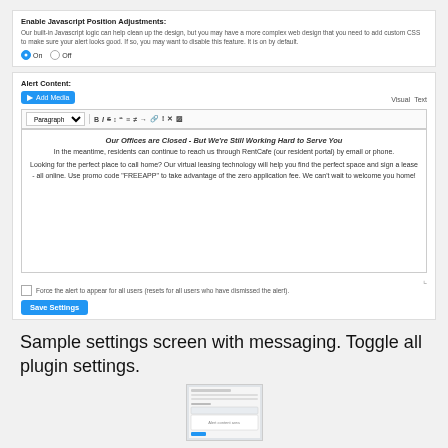Enable Javascript Position Adjustments:
Our built-in Javascript logic can help clean up the design, but you may have a more complex web design that you need to add custom CSS to make sure your alert looks good. If so, you may want to disable this feature. It is on by default.
On  Off
Alert Content:
[Figure (screenshot): WordPress-style rich text editor with Add Media button, toolbar with formatting icons (B, I, strikethrough, etc.), and content area showing alert text about offices being closed.]
Our Offices are Closed - But We're Still Working Hard to Serve You
In the meantime, residents can continue to reach us through RentCafe (our resident portal) by email or phone.

Looking for the perfect place to call home? Our virtual leasing technology will help you find the perfect space and sign a lease - all online. Use promo code "FREEAPP" to take advantage of the zero application fee. We can't wait to welcome you home!
Force the alert to appear for all users (resets for all users who have dismissed the alert).
Save Settings
Sample settings screen with messaging. Toggle all plugin settings.
[Figure (screenshot): Small thumbnail of the settings screen]